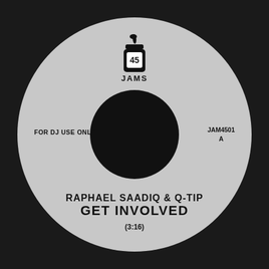[Figure (illustration): Vinyl 7-inch record label for 45 Jams. Gray circular label with a jam jar logo at top containing '45 JAMS' text. Large black center hole. Left side reads 'FOR DJ USE ONLY', right side reads 'JAM4501 A'. Bottom text shows artist 'RAPHAEL SAADIQ & Q-TIP', track title 'GET INVOLVED', duration '(3:16)'.]